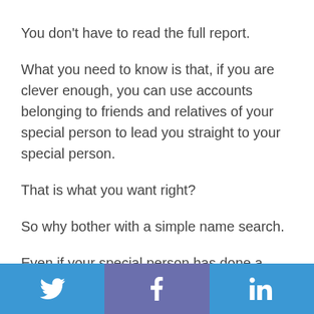You don’t have to read the full report.
What you need to know is that, if you are clever enough, you can use accounts belonging to friends and relatives of your special person to lead you straight to your special person.
That is what you want right?
So why bother with a simple name search.
Even if your special person has done a great job of hiding himself/herself, this technique will work.
[Figure (other): Social sharing bar with Twitter, Facebook, and LinkedIn buttons at the bottom of the page]